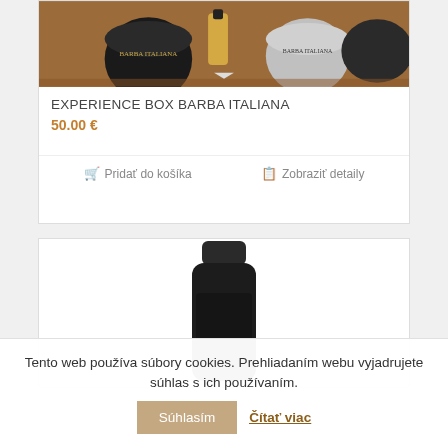[Figure (photo): Product image showing Barba Italiana grooming products (tins and bottle) in a gift box on a reddish-brown background]
EXPERIENCE BOX BARBA ITALIANA
50.00 €
🛒 Pridať do košíka    📋 Zobraziť detaily
[Figure (photo): Close-up photo of a dark glass bottle (Barba Italiana product) showing the cap and upper portion of the bottle on a white background]
Tento web používa súbory cookies. Prehliadaním webu vyjadrujete súhlas s ich používaním. Súhlasím Čítať viac